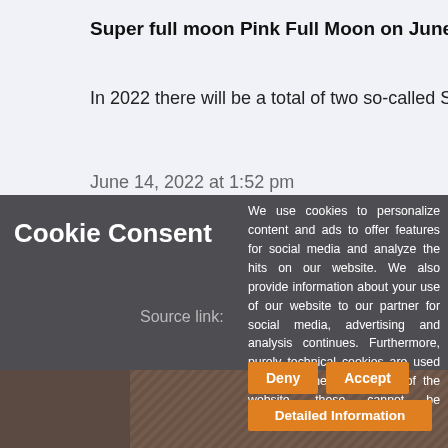Super full moon Pink Full Moon on June 13, 20...
In 2022 there will be a total of two so-called S...
June 14, 2022 at 1:52 pm
Cookie Consent
Source link:
We use cookies to personalize content and ads to offer features for social media and analyze the hits on our website. We also provide information about your use of our website to our partner for social media, advertising and analysis continues. Furthermore, purely technical cookies are used to ensure the functionality of the website, these cannot be deactivated.
Deny
Accept
Detailed Information